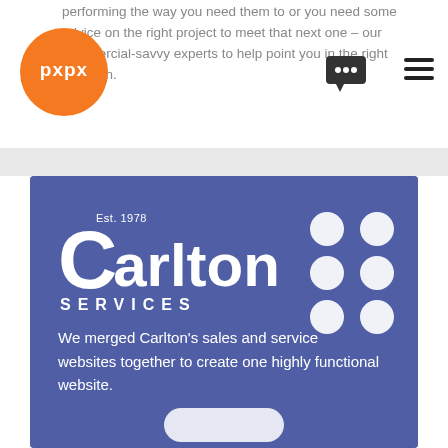performing the way you need them to or you need some advice on the right project to meet that next one – our commercial-savvy experts to help point you in the right direction.
[Figure (logo): Orange circular logo with 'pxpx' text in white]
[Figure (logo): Carlton Services logo with Est. 1978, white text on blue background with dot grid icon]
We merged Carlton's sales and service websites together to create one highly functional website.